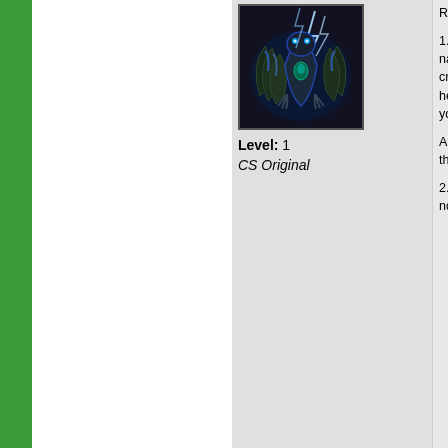[Figure (illustration): Fantasy dragon illustration with blue and dark feathers/scales on dark background]
Level: 1
CS Original
Research...

1. Acharya... Was Jes... different... name[2]... ASCSA, Murdock... to creden... her colle... freethought... her ident... past yea... religious... your own... fabricatio...

All your p... discussed... about, be... thread h... and thus... book of k...

2. You ar... else a lia... neutral. D... not really... a liar, an... write ano...